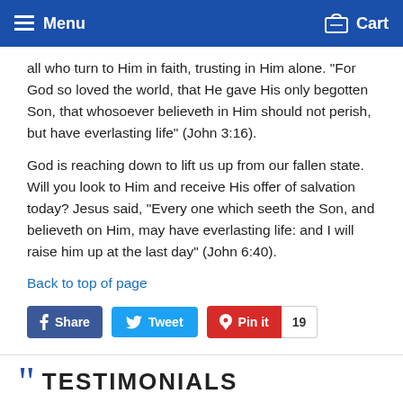Menu  Cart
all who turn to Him in faith, trusting in Him alone. “For God so loved the world, that He gave His only begotten Son, that whosoever believeth in Him should not perish, but have everlasting life” (John 3:16).
God is reaching down to lift us up from our fallen state. Will you look to Him and receive His offer of salvation today? Jesus said, “Every one which seeth the Son, and believeth on Him, may have everlasting life: and I will raise him up at the last day” (John 6:40).
Back to top of page
TESTIMONIALS